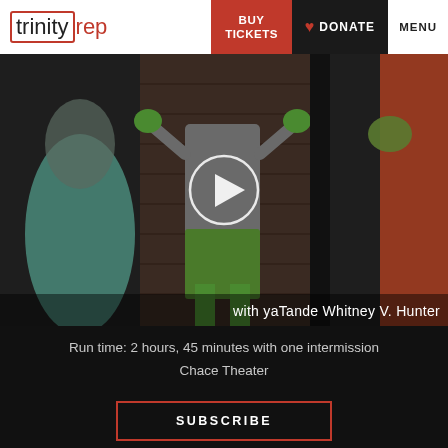trinity rep — BUY TICKETS | DONATE | MENU
[Figure (photo): Theatrical performance still showing dancers/actors on stage with play button overlay. Text overlay reads 'with yaTande Whitney V. Hunter']
Run time: 2 hours, 45 minutes with one intermission
Chace Theater
SUBSCRIBE